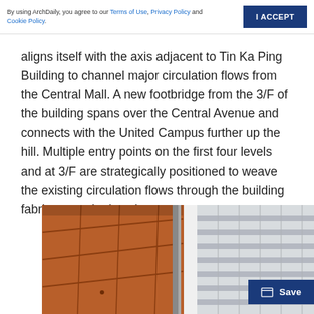By using ArchDaily, you agree to our Terms of Use, Privacy Policy and Cookie Policy. | I ACCEPT
aligns itself with the axis adjacent to Tin Ka Ping Building to channel major circulation flows from the Central Mall. A new footbridge from the 3/F of the building spans over the Central Avenue and connects with the United Campus further up the hill. Multiple entry points on the first four levels and at 3/F are strategically positioned to weave the existing circulation flows through the building fabrics more intricately.
[Figure (photo): Interior architectural photo showing orange/brown ceiling tiles on the left side and a glass curtain wall with vertical mullions in the center, with a white building facade visible through the glass on the right.]